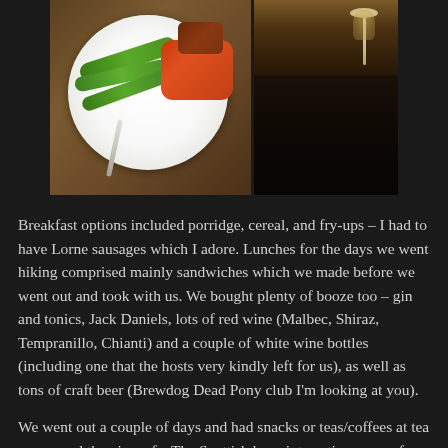[Figure (photo): Two food/drink photos side by side. Left: a white plate with green beans, orange rice/pilaf and meat on a wicker mat with a fork. Right: a dark pub table with a wine or spirit glass visible.]
Breakfast options included porridge, cereal, and fry-ups – I had to have Lorne sausages which I adore. Lunches for the days we went hiking comprised mainly sandwiches which we made before we went out and took with us. We bought plenty of booze too – gin and tonics, Jack Daniels, lots of red wine (Malbec, Shiraz, Tempranillo, Chianti) and a couple of white wine bottles (including one that the hosts very kindly left for us), as well as tons of craft beer (Brewdog Dead Pony club I'm looking at you).
We went out a couple of days and had snacks or teas/coffees at tea rooms and the pier cafe. The Scottish have interesting names for some of their foods. That thing that looks like a pancake (top left image) is